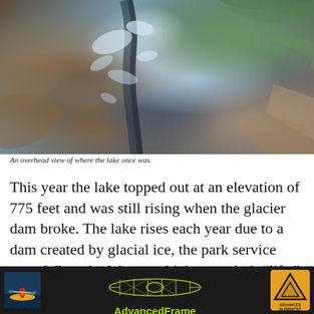[Figure (photo): Satellite overhead view of where a lake once was, showing glacial terrain with cloud/ice patterns and coastal geography]
An overhead view of where the lake once was.
This year the lake topped out at an elevation of 775 feet and was still rising when the glacier dam broke. The lake rises each year due to a dam created by glacial ice, the park service says. When the lake gets high enough, it “lifts” the ice dam and starts draining down glacier, flooding Bear
[Figure (infographic): Advertisement banner: Advanced Elements AdvancedFrame kayak. Black background. Shows kayaker, kayak frame diagram, and Advanced Elements logo. Text: The One & Only, AdvancedFrame, Designed to perform. Built for your next adventure.]